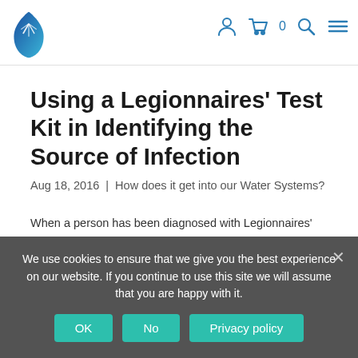Website header with logo and navigation icons (user, cart 0, search, menu)
Using a Legionnaires' Test Kit in Identifying the Source of Infection
Aug 18, 2016 | How does it get into our Water Systems?
When a person has been diagnosed with Legionnaires' disease, it is important to identify the source of infection. The infected person cannot make a claim.
Legionnaires' disease is caused by the Legionella
We use cookies to ensure that we give you the best experience on our website. If you continue to use this site we will assume that you are happy with it.